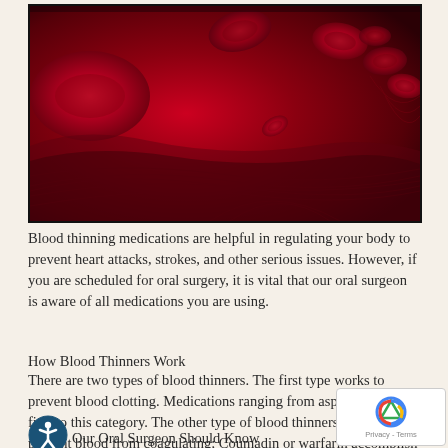[Figure (photo): Close-up microscopic image of red blood cells flowing through a blood vessel, shown in vivid red tones]
Blood thinning medications are helpful in regulating your body to prevent heart attacks, strokes, and other serious issues. However, if you are scheduled for oral surgery, it is vital that our oral surgeon is aware of all medications you are using.
How Blood Thinners Work
There are two types of blood thinners. The first type works to prevent blood clotting. Medications ranging from aspirin to Plavix fit into this category. The other type of blood thinners work to prevent blood from coagulating; Coumadin or warfarin accomplish this.
Our Oral Surgeon Should Know
When you have your oral surgery consultation appointment, be sure to share with us any medications you are taking. We need